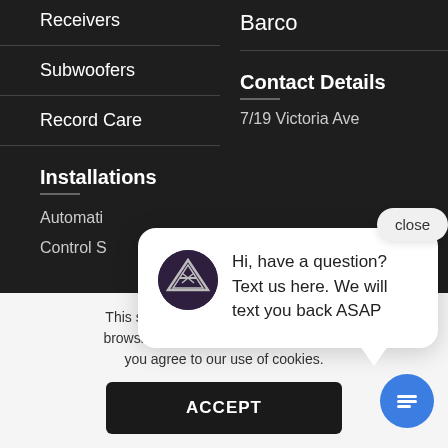Receivers
Subwoofers
Record Care
Installations
Automation
Control S
Barco
Contact Details
7/19 Victoria Ave
This site uses cookies to improve your browsing experience. By using this site you agree to our use of cookies.
[Figure (screenshot): Chat popup with logo avatar and message: Hi, have a question? Text us here. We will text you back ASAP, with a close button and blue chat bubble button]
ACCEPT